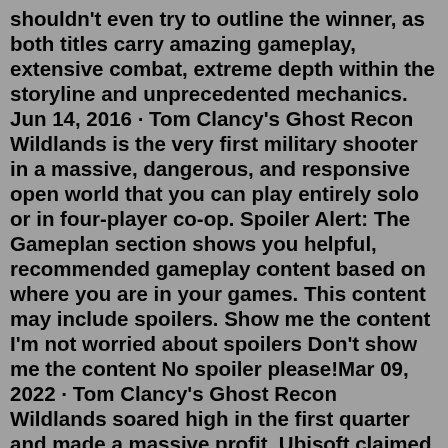shouldn't even try to outline the winner, as both titles carry amazing gameplay, extensive combat, extreme depth within the storyline and unprecedented mechanics. Jun 14, 2016 · Tom Clancy's Ghost Recon Wildlands is the very first military shooter in a massive, dangerous, and responsive open world that you can play entirely solo or in four-player co-op. Spoiler Alert: The Gameplan section shows you helpful, recommended gameplay content based on where you are in your games. This content may include spoilers. Show me the content I'm not worried about spoilers Don't show me the content No spoiler please!Mar 09, 2022 · Tom Clancy's Ghost Recon Wildlands soared high in the first quarter and made a massive profit. Ubisoft claimed it to be the company's best-selling title for the first half of 2017, and according ... Mar 09, 2017 · Ghost Recon Wildlands review Tom Clancy's Ghost Recon Wildlands is a good co-op game spoiled. By Phil Savage published 9 March 17 (opens in new tab) (opens in new tab)